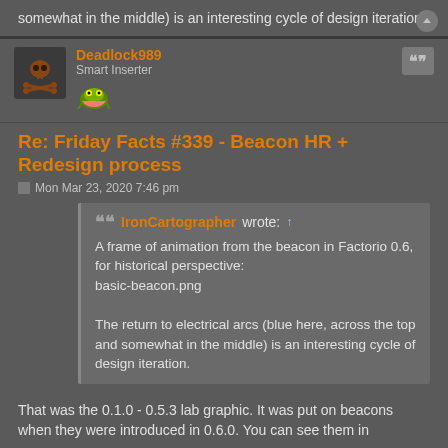somewhat in the middle) is an interesting cycle of design iteration.
Deadlock989
Smart Inserter
Re: Friday Facts #339 - Beacon HR + Redesign process
Mon Mar 23, 2020 7:46 pm
IronCartographer wrote: ↑
A frame of animation from the beacon in Factorio 0.6, for historical perspective:
basic-beacon.png

The return to electrical arcs (blue here, across the top and somewhat in the middle) is an interesting cycle of design iteration.
That was the 0.1.0 - 0.5.3 lab graphic. It was put on beacons when they were introduced in 0.6.0. You can see them in